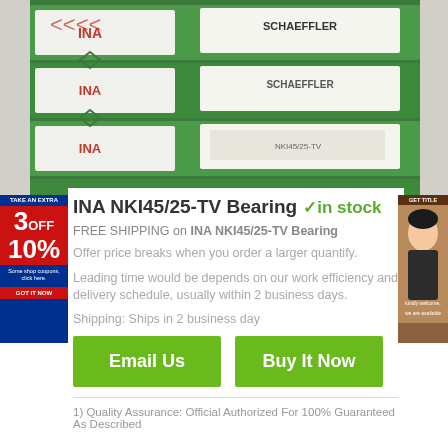[Figure (photo): Stack of green and white INA/Schaeffler bearing boxes]
INA NKI45/25-TV Bearing  ✓ in stock
FREE SHIPPING on INA NKI45/25-TV Bearing
Offer price breaks when you order a larger quantify.
Leading time would be depends on our work efficiency and delivery schedule, usually within 2 business days.
Shipping: Ships in 2 business day
Email Us
Buy It Now
1) Quality Assurance: Official Authorized For 100% Guaranteed As Described